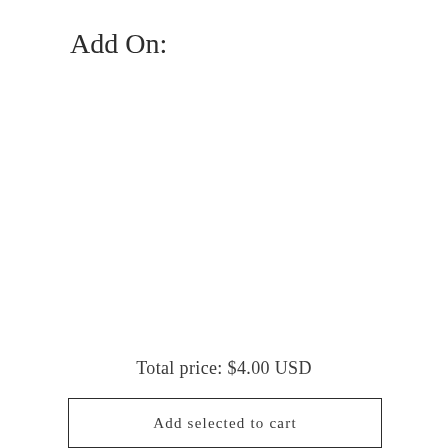Add On:
Total price: $4.00 USD
Add selected to cart